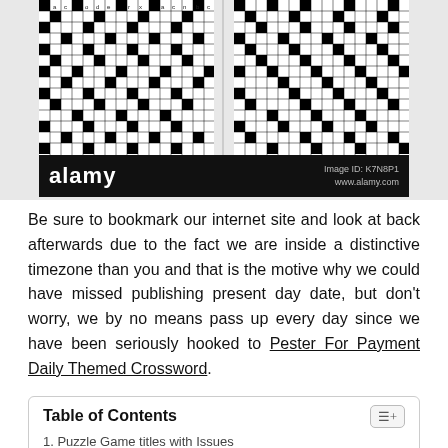[Figure (other): Two crossword puzzle grids side by side, black and white, with an Alamy watermark bar at the bottom showing 'alamy', 'Image ID: K7N8P1', and 'www.alamy.com']
Be sure to bookmark our internet site and look at back afterwards due to the fact we are inside a distinctive timezone than you and that is the motive why we could have missed publishing present day date, but don't worry, we by no means pass up every day since we have been seriously hooked to Pester For Payment Daily Themed Crossword.
| 1. Puzzle Game titles with Issues |
| 1.1. What's Every day Themed Crossword all about? |
Puzzle Game titles with Issues